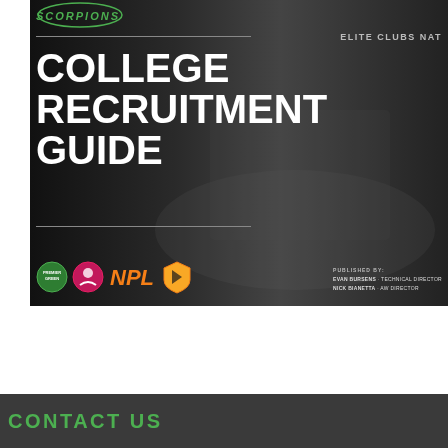[Figure (photo): Cover image of a soccer college recruitment guide. Black and white photo of soccer players in a huddle with coaches. Text overlaid reads COLLEGE RECRUITMENT GUIDE in large white bold letters. Scorpions logo at top, Elite Clubs National league text visible, logos for various soccer leagues at bottom, published by credits at bottom right.]
CONTACT US